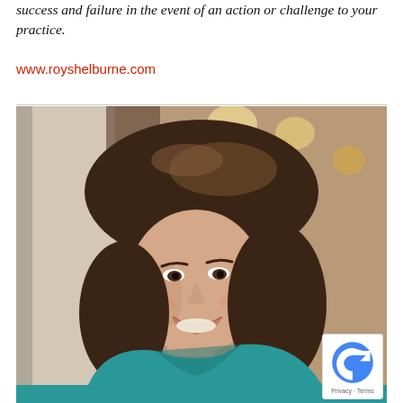success and failure in the event of an action or challenge to your practice.
www.royshelburne.com
[Figure (photo): Portrait photo of a smiling woman with brown hair wearing a teal top, photographed indoors with warm background lighting.]